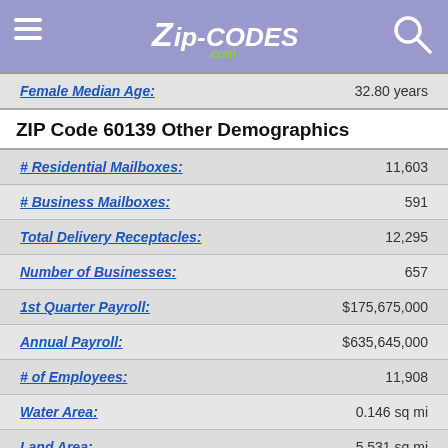Zip-Codes.com
| Field | Value |
| --- | --- |
| Female Median Age: | 32.80 years |
ZIP Code 60139 Other Demographics
| Field | Value |
| --- | --- |
| # Residential Mailboxes: | 11,603 |
| # Business Mailboxes: | 591 |
| Total Delivery Receptacles: | 12,295 |
| Number of Businesses: | 657 |
| 1st Quarter Payroll: | $175,675,000 |
| Annual Payroll: | $635,645,000 |
| # of Employees: | 11,908 |
| Water Area: | 0.146 sq mi |
| Land Area: | 5.531 sq mi |
| 112th Congressional District: | 06/09 |